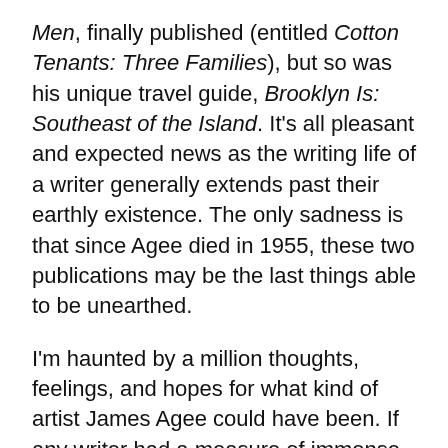Men, finally published (entitled Cotton Tenants: Three Families), but so was his unique travel guide, Brooklyn Is: Southeast of the Island. It's all pleasant and expected news as the writing life of a writer generally extends past their earthly existence. The only sadness is that since Agee died in 1955, these two publications may be the last things able to be unearthed.

I'm haunted by a million thoughts, feelings, and hopes for what kind of artist James Agee could have been. If any writer had a measure of immense talent and potential and failed to live up to either, Agee certainly belongs. He extended himself a million ways through journalism, fiction, non-fiction, and poetry that he could never fully concentrate on one outlet. One of Agee's main interest and arguably most doomed to fail was his fascination with writing about and making film. Like many novelists and